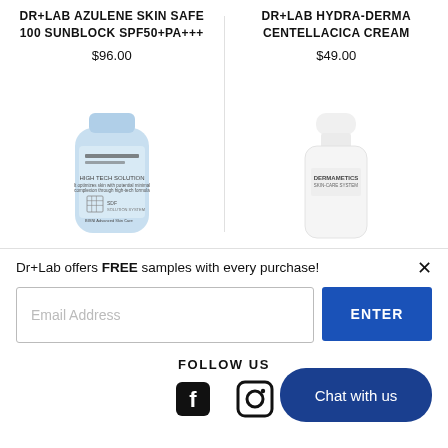DR+LAB AZULENE SKIN SAFE 100 SUNBLOCK SPF50+PA+++
$96.00
[Figure (photo): Light blue squeeze tube product — Dermametics Skin Care System sunblock]
DR+LAB HYDRA-DERMA CENTELLACICA CREAM
$49.00
[Figure (photo): White bottle product — Dermametics Skin Care System cream]
Dr+Lab offers FREE samples with every purchase!
Email Address
ENTER
FOLLOW US
[Figure (illustration): Facebook and Instagram social media icons]
Chat with us